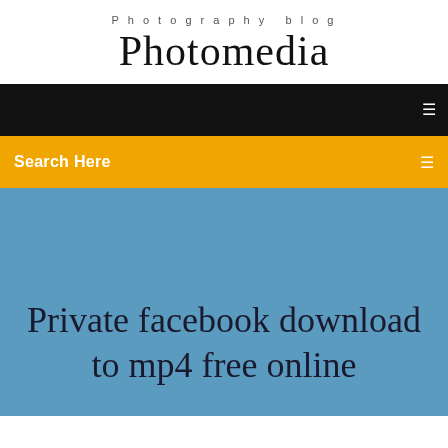Photography blog
Photomedia
[Figure (screenshot): Black navigation bar with a white menu icon on the right]
Search Here
Private facebook download to mp4 free online